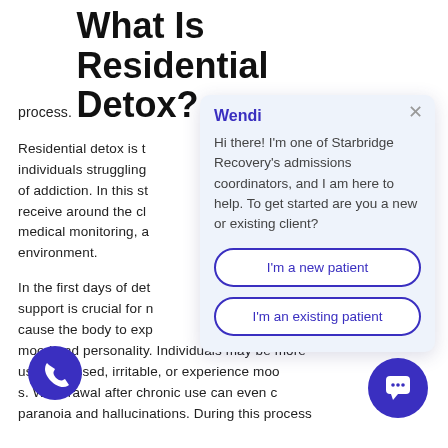process.
What Is Residential Detox?
Residential detox is t individuals struggling of addiction. In this st receive around the cl medical monitoring, a environment.
In the first days of de support is crucial for cause the body to exp mood and personality. Individuals may be more us, depressed, irritable, or experience moo s. Withdrawal after chronic use can even c paranoia and hallucinations. During this process
[Figure (screenshot): Chat widget overlay with agent named Wendi, asking if user is a new or existing patient, with two buttons: I'm a new patient and I'm an existing patient]
[Figure (other): Blue circular phone call button at bottom left]
[Figure (other): Blue circular chat bubble button at bottom right]